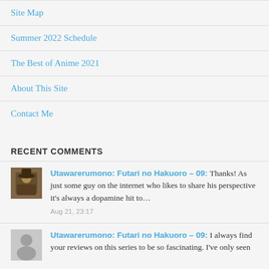Site Map
Summer 2022 Schedule
The Best of Anime 2021
About This Site
Contact Me
RECENT COMMENTS
Utawarerumono: Futari no Hakuoro – 09: Thanks! As just some guy on the internet who likes to share his perspective it's always a dopamine hit to… Aug 21, 23:17
Utawarerumono: Futari no Hakuoro – 09: I always find your reviews on this series to be so fascinating. I've only seen